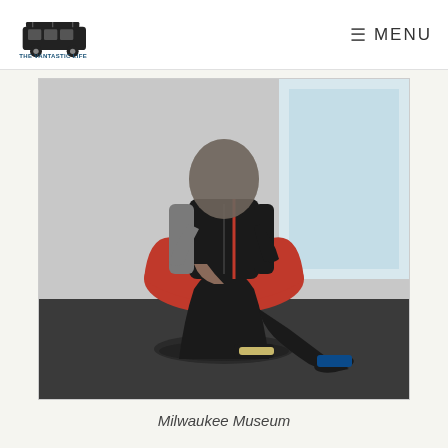THE VANTASTIC LIFE | MENU
[Figure (photo): A person dressed in black athletic wear (vest, pants, long-sleeve shirt) sitting on a large red sculptural seat/furniture piece. The setting appears to be a museum interior with large windows in the background. The person is wearing colorful sneakers and is posed casually on the red sculpture which has a tulip-like form on a cylindrical red base on a circular black base.]
Milwaukee Museum